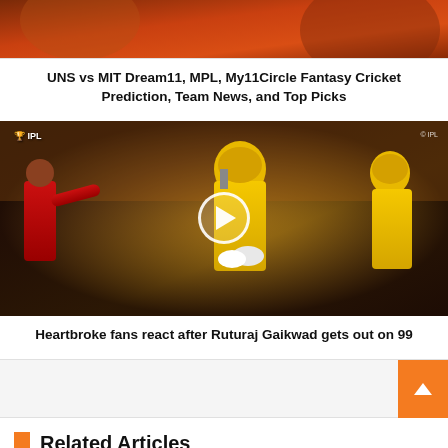[Figure (photo): Sports image with text overlay 'UNS vs MIT' on orange/red background]
UNS vs MIT Dream11, MPL, My11Circle Fantasy Cricket Prediction, Team News, and Top Picks
[Figure (photo): Cricket players on field - a bowler and batsmen in yellow and red jerseys, IPL match, with play button overlay]
Heartbroke fans react after Ruturaj Gaikwad gets out on 99
Related Articles